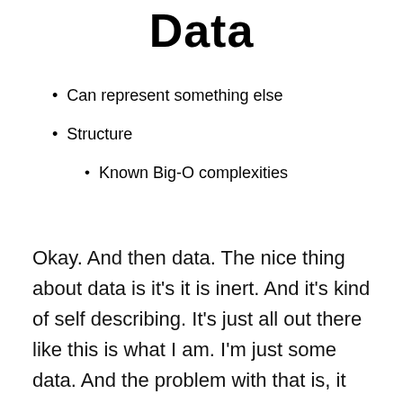Data
Can represent something else
Structure
Known Big-O complexities
Okay. And then data. The nice thing about data is it's it is inert. And it's kind of self describing. It's just all out there like this is what I am. I'm just some data. And the problem with that is, it needs to be interpreted right? You can't just say: Okay, go run like you can a function. But it also means it can